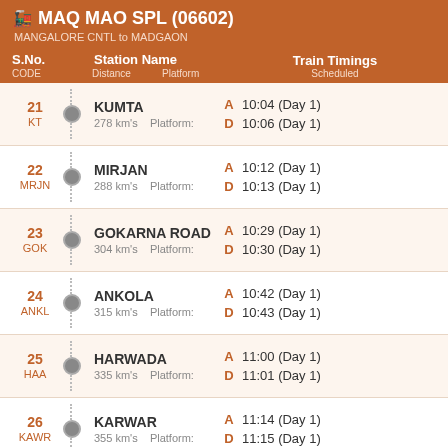MAQ MAO SPL (06602) MANGALORE CNTL to MADGAON
| S.No. CODE | Station Name / Distance / Platform | Train Timings Scheduled |
| --- | --- | --- |
| 21 KT | KUMTA 278 km's Platform: | A 10:04 (Day 1) D 10:06 (Day 1) |
| 22 MRJN | MIRJAN 288 km's Platform: | A 10:12 (Day 1) D 10:13 (Day 1) |
| 23 GOK | GOKARNA ROAD 304 km's Platform: | A 10:29 (Day 1) D 10:30 (Day 1) |
| 24 ANKL | ANKOLA 315 km's Platform: | A 10:42 (Day 1) D 10:43 (Day 1) |
| 25 HAA | HARWADA 335 km's Platform: | A 11:00 (Day 1) D 11:01 (Day 1) |
| 26 KAWR | KARWAR 355 km's Platform: | A 11:14 (Day 1) D 11:15 (Day 1) |
| 27 | ASNOTI | A 11:24 (Day 1) |